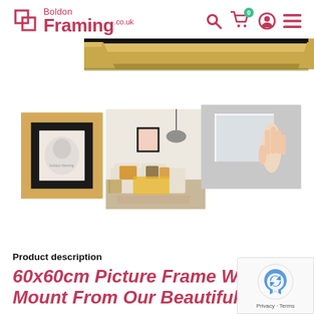Boldon Framing .co.uk — navigation header with search, cart (0), account, and menu icons
[Figure (photo): Gold/yellow picture frame corner detail shown as a banner image]
[Figure (photo): Three product images: (1) square picture frame with black mount on gold/natural wood frame with artwork inside, (2) lifestyle room scene showing black frame on wall above sofa with yellow cushions, (3) hand holding a clear acrylic/glass sheet]
Product description
60x60cm Picture Frame With Mount From Our Beautiful